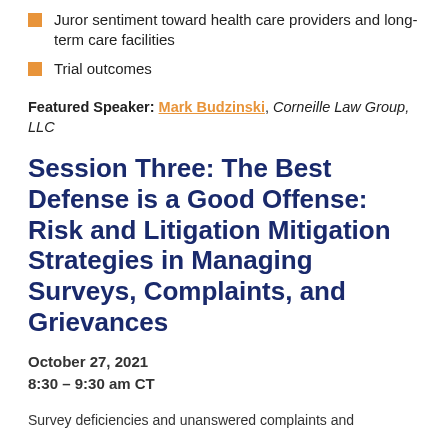Juror sentiment toward health care providers and long-term care facilities
Trial outcomes
Featured Speaker: Mark Budzinski, Corneille Law Group, LLC
Session Three: The Best Defense is a Good Offense: Risk and Litigation Mitigation Strategies in Managing Surveys, Complaints, and Grievances
October 27, 2021
8:30 – 9:30 am CT
Survey deficiencies and unanswered complaints and